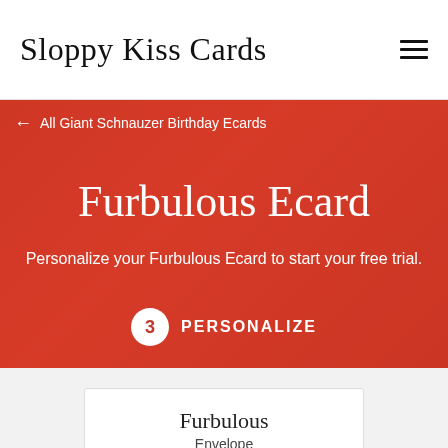Sloppy Kiss Cards
← All Giant Schnauzer Birthday Ecards
Furbulous Ecard
Personalize your Furbulous Ecard to start your free trial.
3 PERSONALIZE
Furbulous
Envelope